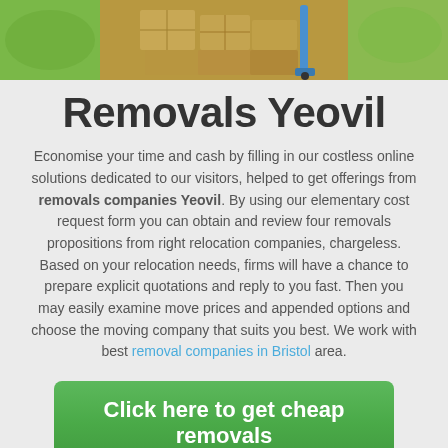[Figure (photo): Photo strip at top showing moving boxes stacked on a trolley/dolly, with green and yellow background tones]
Removals Yeovil
Economise your time and cash by filling in our costless online solutions dedicated to our visitors, helped to get offerings from removals companies Yeovil. By using our elementary cost request form you can obtain and review four removals propositions from right relocation companies, chargeless. Based on your relocation needs, firms will have a chance to prepare explicit quotations and reply to you fast. Then you may easily examine move prices and appended options and choose the moving company that suits you best. We work with best removal companies in Bristol area.
[Figure (illustration): Green button with text: Click here to get cheap removals]
[Figure (illustration): Blue/cyan desktop computer monitor icon at the bottom of the page]